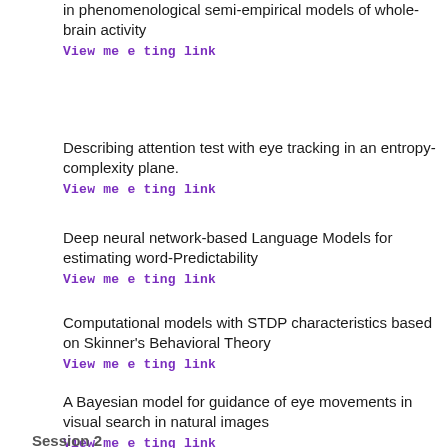in phenomenological semi-empirical models of whole-brain activity
View meeting link
Describing attention test with eye tracking in an entropy-complexity plane.
View meeting link
Deep neural network-based Language Models for estimating word-Predictability
View meeting link
Computational models with STDP characteristics based on Skinner's Behavioral Theory
View meeting link
A Bayesian model for guidance of eye movements in visual search in natural images
View meeting link
Session 2
October, 8 – Thursday / 17:00 – 19:30